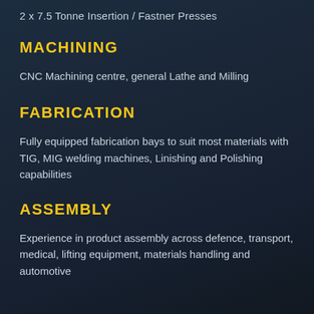2 x 7.5 Tonne Insertion / Fastner Presses
MACHINING
CNC Machining centre, general Lathe and Milling
FABRICATION
Fully equipped fabrication bays to suit most materials with TIG, MIG welding machines, Linishing and Polishing capabilities
ASSEMBLY
Experience in product assembly across defence, transport, medical, lifting equipment, materials handling and automotive